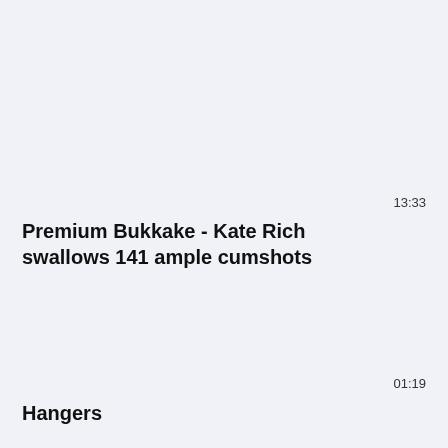13:33
Premium Bukkake - Kate Rich swallows 141 ample cumshots
01:19
Hangers